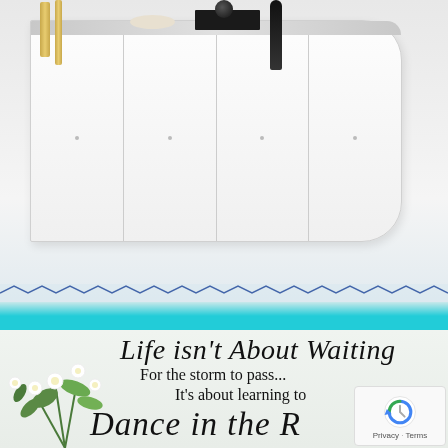[Figure (photo): Interior photo of a white modern sideboard/cabinet with chrome-edged trim, gold candlestick vases on the left, a white bowl, a black rectangular object with a small ball on top, and a curved black vase on the right. A teal/cyan horizontal stripe runs below the cabinet.]
[Figure (photo): Light green/white background with a floral arrangement (white flowers and green leaves) in the bottom left, overlaid with an inspirational quote in decorative script and serif text: 'Life isn't About Waiting For the storm to pass... It's about learning to Dance in the R[ain]'. A reCAPTCHA badge is visible in the bottom right corner with 'Privacy · Terms' text.]
Life isn't About Waiting For the storm to pass... It's about learning to Dance in the R...
Privacy · Terms